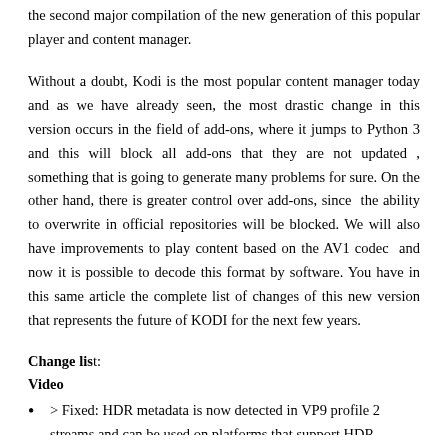the second major compilation of the new generation of this popular player and content manager.
Without a doubt, Kodi is the most popular content manager today and as we have already seen, the most drastic change in this version occurs in the field of add-ons, where it jumps to Python 3 and this will block all add-ons that they are not updated , something that is going to generate many problems for sure. On the other hand, there is greater control over add-ons, since  the ability to overwrite in official repositories will be blocked. We will also have improvements to play content based on the AV1 codec  and now it is possible to decode this format by software. You have in this same article the complete list of changes of this new version that represents the future of KODI for the next few years.
Change list:
Video
> Fixed: HDR metadata is now detected in VP9 profile 2 streams and can be used on platforms that support HDR